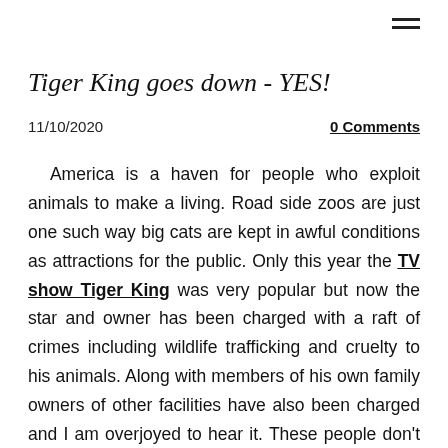≡
Tiger King goes down - YES!
11/10/2020
0 Comments
America is a haven for people who exploit animals to make a living. Road side zoos are just one such way big cats are kept in awful conditions as attractions for the public. Only this year the TV show Tiger King was very popular but now the star and owner has been charged with a raft of crimes including wildlife trafficking and cruelty to his animals. Along with members of his own family owners of other facilities have also been charged and I am overjoyed to hear it. These people don't care about animals and should never be allowed to own them